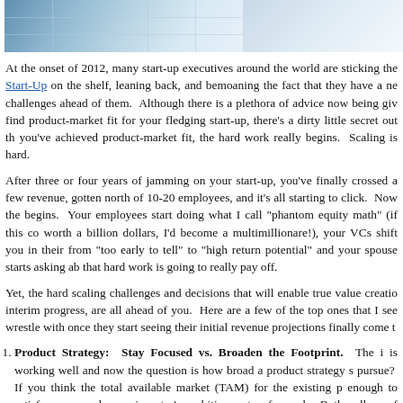[Figure (photo): Partial photo of tiled floor or ceiling with blue tones, cropped at top of page]
At the onset of 2012, many start-up executives around the world are sticking the Start-Up on the shelf, leaning back, and bemoaning the fact that they have a ne challenges ahead of them.  Although there is a plethora of advice now being giv find product-market fit for your fledging start-up, there's a dirty little secret out th you've achieved product-market fit, the hard work really begins.  Scaling is hard.
After three or four years of jamming on your start-up, you've finally crossed a few revenue, gotten north of 10-20 employees, and it's all starting to click.  Now the begins.  Your employees start doing what I call "phantom equity math" (if this co worth a billion dollars, I'd become a multimillionare!), your VCs shift you in their from "too early to tell" to "high return potential" and your spouse starts asking ab that hard work is going to really pay off.
Yet, the hard scaling challenges and decisions that will enable true value creatio interim progress, are all ahead of you.  Here are a few of the top ones that I see wrestle with once they start seeing their initial revenue projections finally come t
Product Strategy:  Stay Focused vs. Broaden the Footprint.  The i is working well and now the question is how broad a product strategy s pursue?  If you think the total available market (TAM) for the existing p enough to satisfy yours and your investor's ambitions, stay focused.  B the allure of pursuing the bigger win draws founders into ambitious effo broaden their product footprint through organic development efforts...